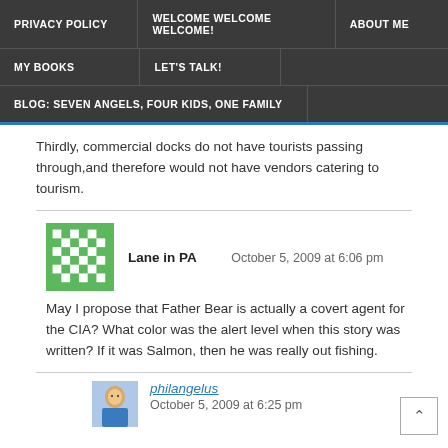PRIVACY POLICY | WELCOME WELCOME WELCOME! | ABOUT ME | MY BOOKS | LET'S TALK! | BLOG: SEVEN ANGELS, FOUR KIDS, ONE FAMILY
Thirdly, commercial docks do not have tourists passing through,and therefore would not have vendors catering to tourism.
Lane in PA   October 5, 2009 at 6:06 pm
May I propose that Father Bear is actually a covert agent for the CIA? What color was the alert level when this story was written? If it was Salmon, then he was really out fishing.
philangelus   October 5, 2009 at 6:25 pm